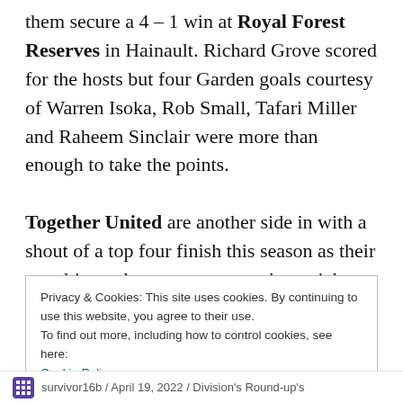them secure a 4 – 1 win at Royal Forest Reserves in Hainault. Richard Grove scored for the hosts but four Garden goals courtesy of Warren Isoka, Rob Small, Tafari Miller and Raheem Sinclair were more than enough to take the points.

Together United are another side in with a shout of a top four finish this season as their penultimate league game saw them pick up all three points with an away success
Privacy & Cookies: This site uses cookies. By continuing to use this website, you agree to their use.
To find out more, including how to control cookies, see here:
Cookie Policy
survivor16b / April 19, 2022 / Division's Round-up's